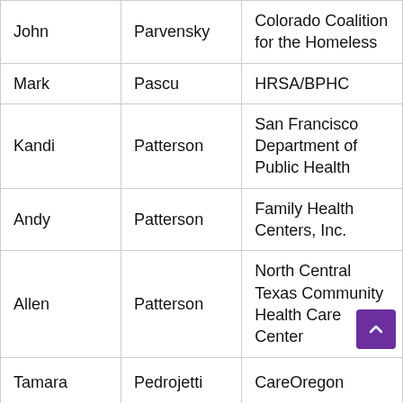| John | Parvensky | Colorado Coalition for the Homeless |
| Mark | Pascu | HRSA/BPHC |
| Kandi | Patterson | San Francisco Department of Public Health |
| Andy | Patterson | Family Health Centers, Inc. |
| Allen | Patterson | North Central Texas Community Health Care Center |
| Tamara | Pedrojetti | CareOregon |